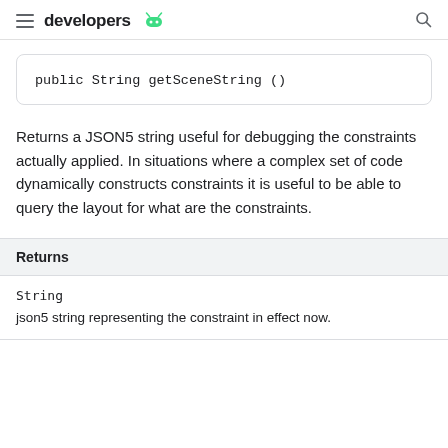developers
public String getSceneString ()
Returns a JSON5 string useful for debugging the constraints actually applied. In situations where a complex set of code dynamically constructs constraints it is useful to be able to query the layout for what are the constraints.
| Returns |
| --- |
| String | json5 string representing the constraint in effect now. |